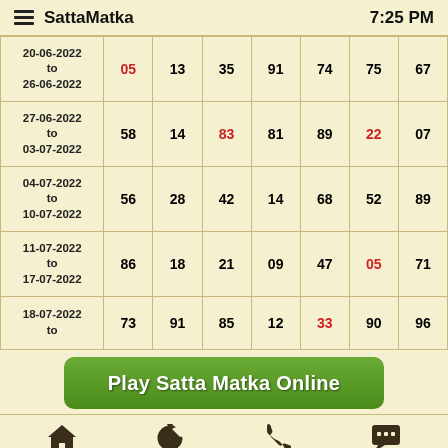SattaMatka   7:25 PM
| Date | Col1 | Col2 | Col3 | Col4 | Col5 | Col6 | Col7 |
| --- | --- | --- | --- | --- | --- | --- | --- |
| 20-06-2022 to 26-06-2022 | 05 | 13 | 35 | 91 | 74 | 75 | 67 |
| 27-06-2022 to 03-07-2022 | 58 | 14 | 83 | 81 | 89 | 22 | 07 |
| 04-07-2022 to 10-07-2022 | 56 | 28 | 42 | 14 | 68 | 52 | 89 |
| 11-07-2022 to 17-07-2022 | 86 | 18 | 21 | 09 | 47 | 05 | 71 |
| 18-07-2022 to ... | 73 | 91 | 85 | 12 | 33 | 90 | 96 |
[Figure (infographic): Green rounded button banner reading 'Play Satta Matka Online']
Home | Refresh | Phone | Chat